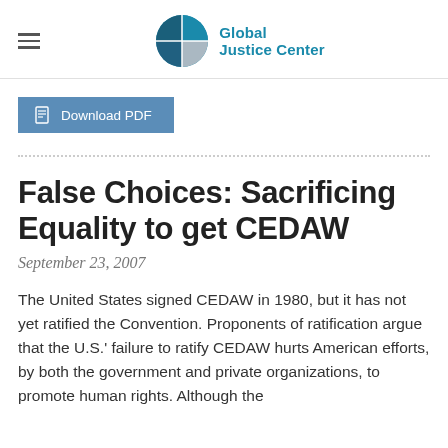Global Justice Center
Download PDF
False Choices: Sacrificing Equality to get CEDAW
September 23, 2007
The United States signed CEDAW in 1980, but it has not yet ratified the Convention. Proponents of ratification argue that the U.S.' failure to ratify CEDAW hurts American efforts, by both the government and private organizations, to promote human rights. Although the